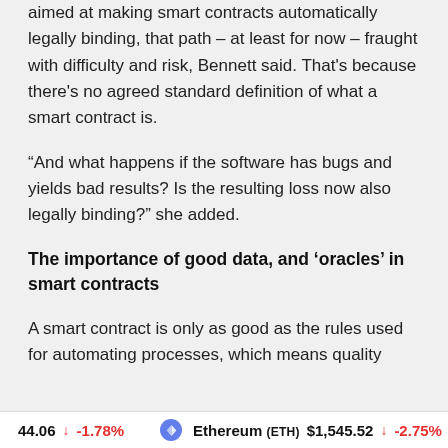aimed at making smart contracts automatically legally binding, that path – at least for now – fraught with difficulty and risk, Bennett said. That's because there's no agreed standard definition of what a smart contract is.
“And what happens if the software has bugs and yields bad results? Is the resulting loss now also legally binding?” she added.
The importance of good data, and ‘oracles’ in smart contracts
A smart contract is only as good as the rules used for automating processes, which means quality
44.06 ↓ -1.78%   Ethereum (ETH) $1,545.52 ↓ -2.75%